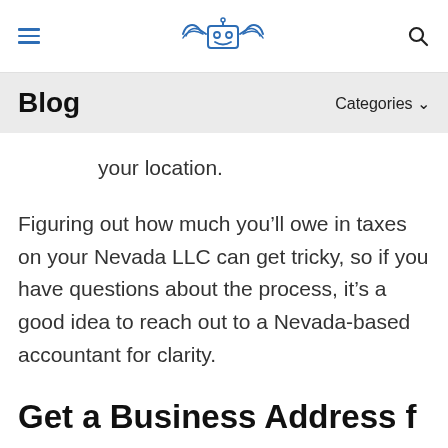Menu | Logo | Search
Blog
your location.
Figuring out how much you’ll owe in taxes on your Nevada LLC can get tricky, so if you have questions about the process, it’s a good idea to reach out to a Nevada-based accountant for clarity.
Get a Business Address from